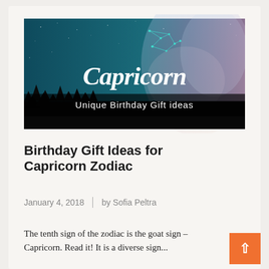[Figure (illustration): Hero image for a Capricorn birthday gift ideas blog post. Dark night sky with Milky Way galaxy on the right, Capricorn constellation shown with glowing teal dots and connecting lines at the top. Large cursive white text reads 'Capricorn' with a black semi-transparent banner below reading 'Unique Birthday Gift ideas'.]
Birthday Gift Ideas for Capricorn Zodiac
January 4, 2018 | by Sofia Peltra
The tenth sign of the zodiac is the goat sign – Capricorn. Read it! It is a diverse sign...